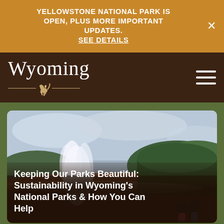YELLOWSTONE NATIONAL PARK IS OPEN, PLUS MORE IMPORTANT UPDATES. SEE DETAILS
[Figure (logo): Wyoming state tourism logo with script text and bucking horse emblem]
[Figure (photo): Aerial landscape photo of Yellowstone National Park showing geothermal steam vents, forested hills, and two visitors in the foreground]
Keeping Our Parks Beautiful: Sustainability in Wyoming's National Parks & How You Can Help
FREE TRAVEL GUIDE
EMAIL SIGN UP